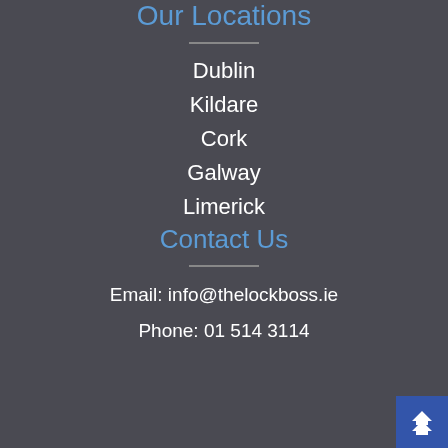Our Locations
Dublin
Kildare
Cork
Galway
Limerick
Contact Us
Email: info@thelockboss.ie
Phone: 01 514 3114